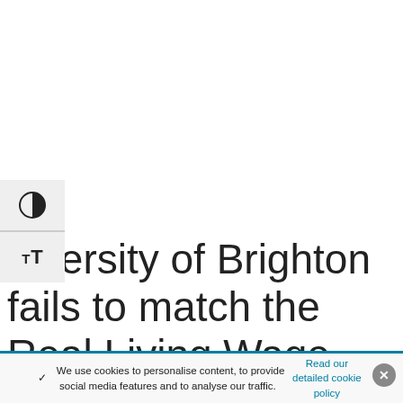[Figure (other): UI accessibility controls panel with contrast toggle icon and text size icon]
University of Brighton fails to match the Real Living Wage
We use cookies to personalise content, to provide social media features and to analyse our traffic. Read our detailed cookie policy